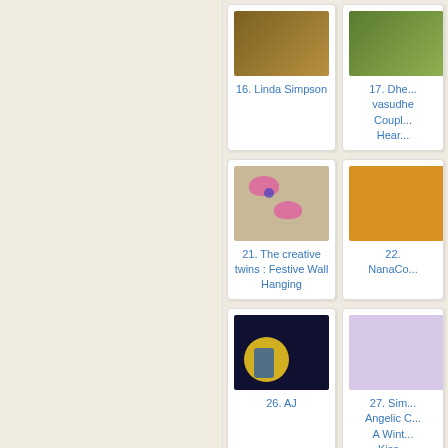[Figure (photo): Thumbnail image for entry 16 - Linda Simpson]
16. Linda Simpson
[Figure (photo): Thumbnail image for entry 17 - Dhee vasudhe Couple Heart (partially visible)]
17. Dhee vasudhe Couple Hear...
[Figure (photo): Thumbnail image for entry 21 - The creative twins : Festive Wall Hanging]
21. The creative twins : Festive Wall Hanging
[Figure (photo): Thumbnail image for entry 22 - NanaCo... (partially visible)]
22. NanaCo...
[Figure (photo): Thumbnail image for entry 26 - AJ, showing witch on broomstick]
26. AJ
[Figure (photo): Thumbnail image for entry 27 - Sim... Angelic ... A Wint... Kiss... (partially visible)]
27. Sim... Angelic C... A Wint... Kiss...
[Figure (photo): Thumbnail image for entry 31 (partially visible at bottom)]
[Figure (photo): Thumbnail image for entry 32 (partially visible at bottom)]